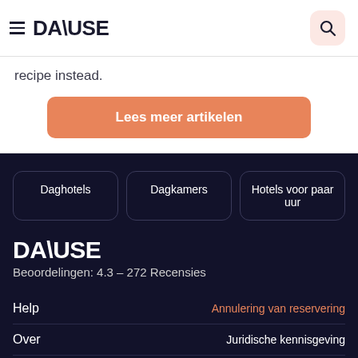≡ DAYUSE
recipe instead.
Lees meer artikelen
Daghotels
Dagkamers
Hotels voor paar uur
DAYUSE
Beoordelingen: 4.3 – 272 Recensies
Help
Annulering van reservering
Over
Juridische kennisgeving